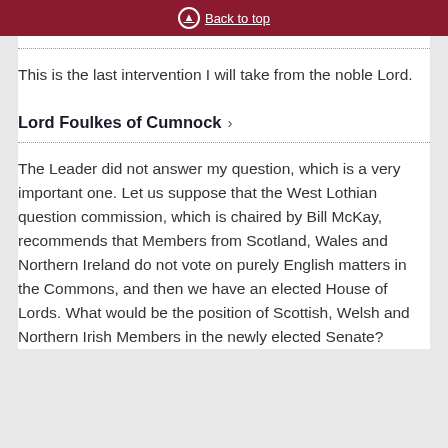Back to top
This is the last intervention I will take from the noble Lord.
Lord Foulkes of Cumnock
The Leader did not answer my question, which is a very important one. Let us suppose that the West Lothian question commission, which is chaired by Bill McKay, recommends that Members from Scotland, Wales and Northern Ireland do not vote on purely English matters in the Commons, and then we have an elected House of Lords. What would be the position of Scottish, Welsh and Northern Irish Members in the newly elected Senate?